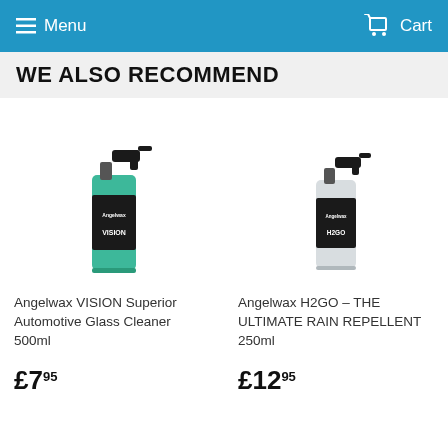Menu   Cart
WE ALSO RECOMMEND
[Figure (photo): Angelwax VISION Superior Automotive Glass Cleaner 500ml spray bottle with green liquid and black label]
Angelwax VISION Superior Automotive Glass Cleaner 500ml
£7.95
[Figure (photo): Angelwax H2GO THE ULTIMATE RAIN REPELLENT 250ml spray bottle with clear liquid and black label]
Angelwax H2GO – THE ULTIMATE RAIN REPELLENT 250ml
£12.95